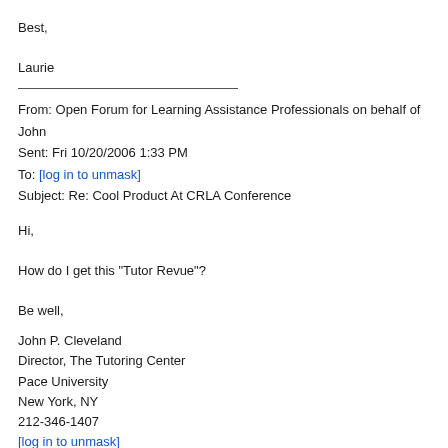Best,

Laurie
From: Open Forum for Learning Assistance Professionals on behalf of John
Sent: Fri 10/20/2006 1:33 PM
To: [log in to unmask]
Subject: Re: Cool Product At CRLA Conference
Hi,

How do I get this "Tutor Revue"?

Be well,
John P. Cleveland
Director, The Tutoring Center
Pace University
New York, NY
212-346-1407
[log in to unmask]
-----Original Message-----
From: Open Forum for Learning Assistance Professionals
[mailto:[log in to unmask]] On Behalf Of Laurie Hazard